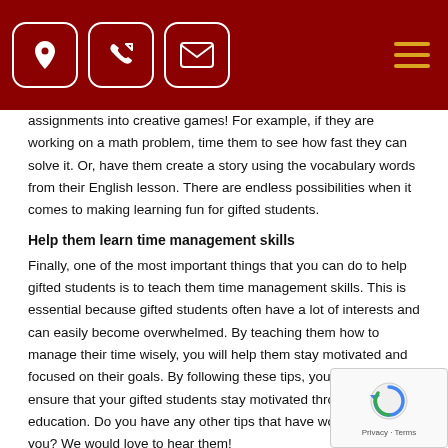[Navigation bar with location, phone, email icons and hamburger menu on dark red background]
assignments into creative games! For example, if they are working on a math problem, time them to see how fast they can solve it. Or, have them create a story using the vocabulary words from their English lesson. There are endless possibilities when it comes to making learning fun for gifted students.
Help them learn time management skills
Finally, one of the most important things that you can do to help gifted students is to teach them time management skills. This is essential because gifted students often have a lot of interests and can easily become overwhelmed. By teaching them how to manage their time wisely, you will help them stay motivated and focused on their goals. By following these tips, you can help ensure that your gifted students stay motivated throughout their education. Do you have any other tips that have worked well for you? We would love to hear them!